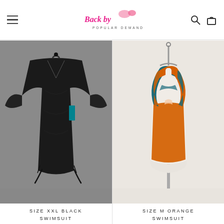Back by Popular Demand
[Figure (photo): Black swimsuit cover-up dress with short flutter sleeves and V-neck, displayed on a hanger against a grey background. Size XXL.]
SIZE XXL BLACK SWIMSUIT
[Figure (photo): Orange and teal/green one-piece swimsuit displayed on a white mannequin showing the back criss-cross straps design. Size M.]
SIZE M ORANGE SWIMSUIT